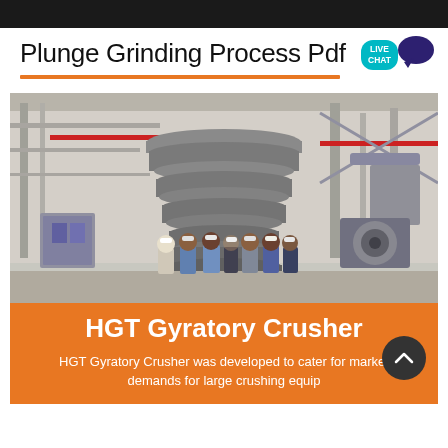Plunge Grinding Process Pdf
[Figure (photo): Group of engineers in hard hats standing in front of a large gyratory crusher in an industrial facility]
HGT Gyratory Crusher
HGT Gyratory Crusher was developed to cater for market demands for large crushing equip